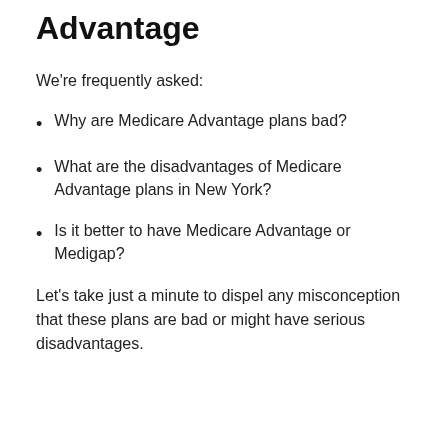Advantage
We're frequently asked:
Why are Medicare Advantage plans bad?
What are the disadvantages of Medicare Advantage plans in New York?
Is it better to have Medicare Advantage or Medigap?
Let's take just a minute to dispel any misconception that these plans are bad or might have serious disadvantages.